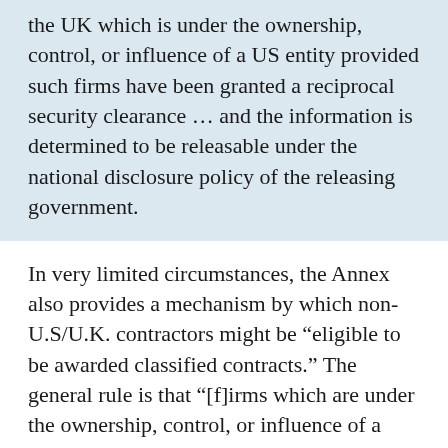the UK which is under the ownership, control, or influence of a US entity provided such firms have been granted a reciprocal security clearance ... and the information is determined to be releasable under the national disclosure policy of the releasing government.
In very limited circumstances, the Annex also provides a mechanism by which non-U.S/U.K. contractors might be “eligible to be awarded classified contracts.” The general rule is that “[f]irms which are under the ownership, control, or influence of a third party country are not eligible.” But “[r]equests for exception to this requirement may be considered on a case-by-case basis by the releasing government.”
As Shorrock notes “many of the companies that dominate the intelligence industry today got their start by selling their technology to the government”